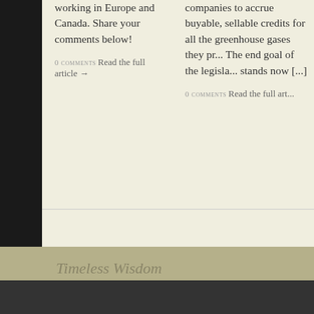working in Europe and Canada. Share your comments below!
0 COMMENTS Read the full article →
companies to accrue buyable, sellable credits for all the greenhouse gases they pr... The end goal of the legisla... stands now [...]
0 COMMENTS Read the full art...
← PREVIOUS ENTRIES
NEXT ENT...
Timeless Wisdom
There has been a critical error on this website.
Learn more about troubleshooting WordPress.